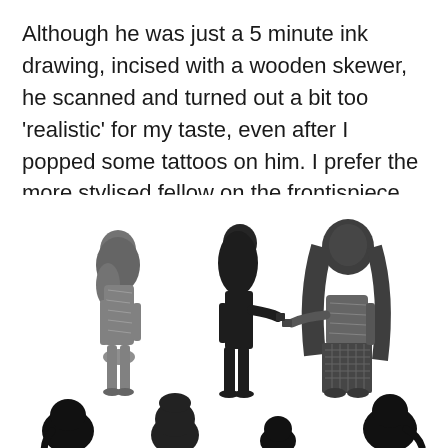Although he was just a 5 minute ink drawing, incised with a wooden skewer, he scanned and turned out a bit too 'realistic' for my taste, even after I popped some tattoos on him. I prefer the more stylised fellow on the frontispiece. This is a balancing act I regularly struggle with.
[Figure (illustration): Black and white photographic or scanned illustration showing silhouettes and semi-realistic ink drawings of girls/figures. Top row: three standing girl figures, two somewhat textured/detailed and one darker silhouette, with the third holding out a small cup. Bottom row (partially visible): four dark silhouette heads/busts of girls, cropped at the page bottom.]